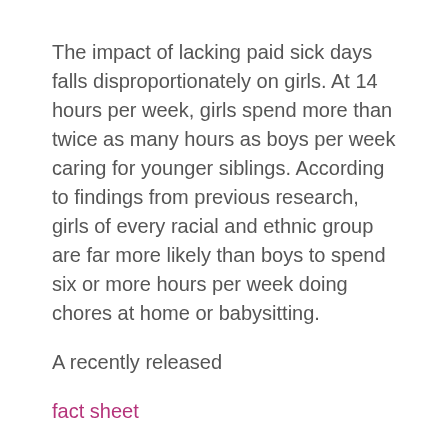The impact of lacking paid sick days falls disproportionately on girls. At 14 hours per week, girls spend more than twice as many hours as boys per week caring for younger siblings. According to findings from previous research, girls of every racial and ethnic group are far more likely than boys to spend six or more hours per week doing chores at home or babysitting.
A recently released
fact sheet
from IWPR showed that universal access to paid sick days would help reduce racial/ethnic health